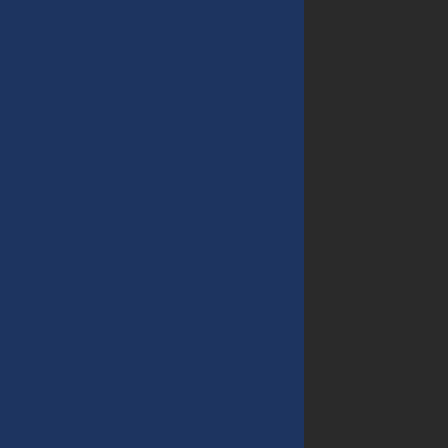[Figure (photo): A scene from a film showing figures in a jungle/outdoor setting with earthy tones]
But I gave the movie a... epic, which shames go... thrilling film that had...
If there were any film... Robert Altman film. C... unknown I mean unkn... Youngblood makes a s... deep in the jungle circ... some Mayan pillagers... in Schindler's List or S... children behind (inclu... which is seen through... for him.
Mel Gibson, who hasn...